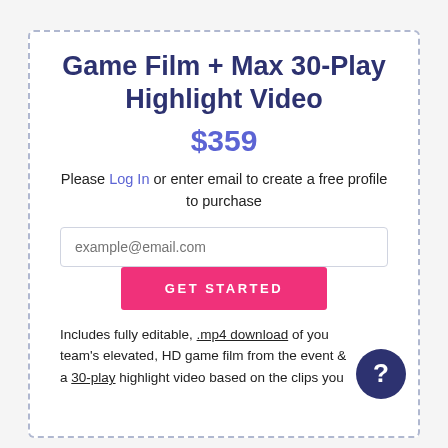Game Film + Max 30-Play Highlight Video
$359
Please Log In or enter email to create a free profile to purchase
example@email.com
GET STARTED
Includes fully editable, .mp4 download of your team's elevated, HD game film from the event and a 30-play highlight video based on the clips you